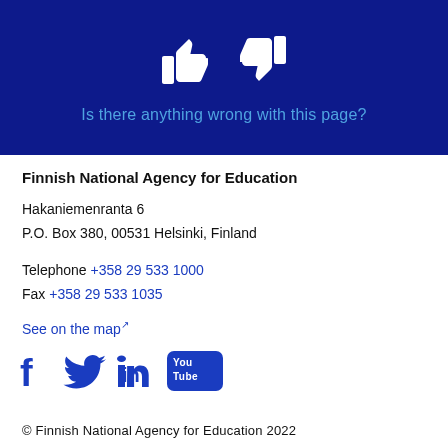[Figure (illustration): Dark navy blue banner with white thumbs-up and thumbs-down icons side by side, followed by text 'Is there anything wrong with this page?' in blue below the icons.]
Is there anything wrong with this page?
Finnish National Agency for Education
Hakaniemenranta 6
P.O. Box 380, 00531 Helsinki, Finland
Telephone +358 29 533 1000
Fax +358 29 533 1035
See on the map
[Figure (illustration): Social media icons: Facebook, Twitter, LinkedIn, YouTube in dark blue color]
© Finnish National Agency for Education 2022